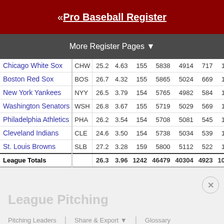« Pro Baseball Register
More Register Pages ▼
| Team | Abbr | Age | ERA | G | TBF | IP | R | H | HR |
| --- | --- | --- | --- | --- | --- | --- | --- | --- | --- |
| Chicago White Sox | CHW | 25.2 | 4.63 | 155 | 5838 | 4914 | 717 | 1269 | 163 |
| Boston Red Sox | BOS | 26.7 | 4.32 | 155 | 5865 | 5024 | 669 | 1308 | 202 |
| New York Yankees | NYY | 26.5 | 3.79 | 154 | 5765 | 4982 | 584 | 1162 | 167 |
| Washington Senators | WSH | 26.8 | 3.67 | 155 | 5719 | 5029 | 569 | 1225 | 152 |
| Philadelphia Athletics | PHA | 26.2 | 3.54 | 154 | 5708 | 5081 | 545 | 1204 | 183 |
| Cleveland Indians | CLE | 24.6 | 3.50 | 154 | 5738 | 5034 | 539 | 1210 | 169 |
| St. Louis Browns | SLB | 27.2 | 3.28 | 159 | 5800 | 5112 | 522 | 1255 | 166 |
| League Totals |  | 26.3 | 3.96 | 1242 | 46479 | 40304 | 4923 | 10005 | 1409 |
League Pitching
Pitching Leaders   Share & Export ▼   Glossary